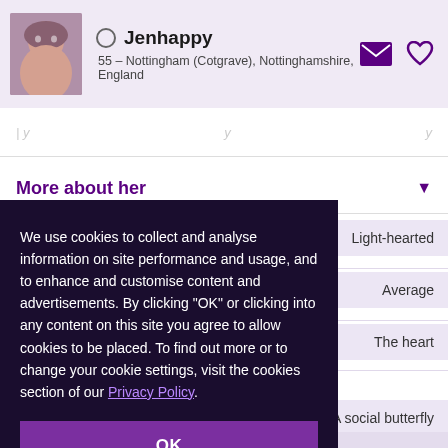Jenhappy — 55 – Nottingham (Cotgrave), Nottinghamshire, England
More about her
Light-hearted
Average
The heart
A social butterfly
We use cookies to collect and analyse information on site performance and usage, and to enhance and customise content and advertisements. By clicking "OK" or clicking into any content on this site you agree to allow cookies to be placed. To find out more or to change your cookie settings, visit the cookies section of our Privacy Policy.
OK